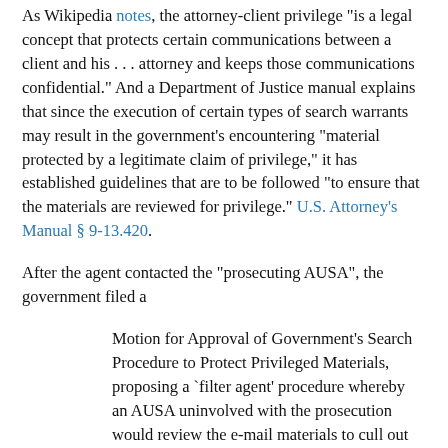As Wikipedia notes, the attorney-client privilege "is a legal concept that protects certain communications between a client and his . . . attorney and keeps those communications confidential." And a Department of Justice manual explains that since the execution of certain types of search warrants may result in the government's encountering "material protected by a legitimate claim of privilege," it has established guidelines that are to be followed "to ensure that the materials are reviewed for privilege." U.S. Attorney's Manual § 9-13.420.
After the agent contacted the "prosecuting AUSA", the government filed a
Motion for Approval of Government's Search Procedure to Protect Privileged Materials, proposing a `filter agent' procedure whereby an AUSA uninvolved with the prosecution would review the e-mail materials to cull out any potentially privileged materials before the investigating agent and the prosecuting AUSA received them.
Over [Taylor's] objection and after making modifications for [Taylor's] benefit, the magistrate